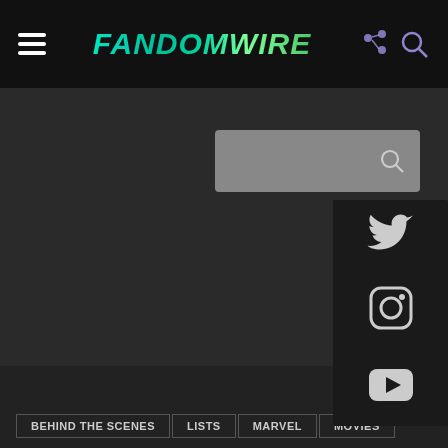FandomWire
Home › Behind The Scene
[Figure (screenshot): Search bar dropdown overlay with search icon on right]
[Figure (infographic): Social media sidebar with Twitter, Instagram, and YouTube icons on dark background]
BEHIND THE SCENES | LISTS | MARVEL | MOVIES